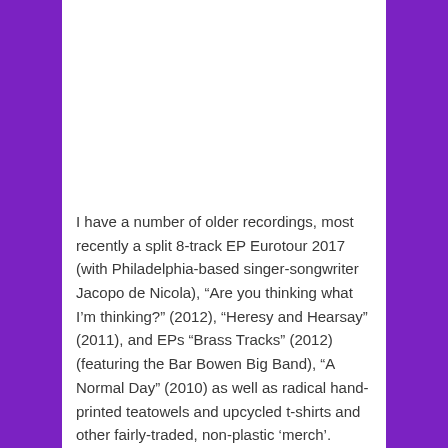I have a number of older recordings, most recently a split 8-track EP Eurotour 2017 (with Philadelphia-based singer-songwriter Jacopo de Nicola), “Are you thinking what I’m thinking?” (2012), “Heresy and Hearsay” (2011), and EPs “Brass Tracks” (2012) (featuring the Bar Bowen Big Band), “A Normal Day” (2010) as well as radical hand-printed teatowels and upcycled t-shirts and other fairly-traded, non-plastic ‘merch’.
I have performed with many luminaries of the radical folk,
Privacy & Cookies: This site uses cookies. By continuing to use this website, you agree to their use.
To find out more, including how to control cookies, see here: Cookie Policy